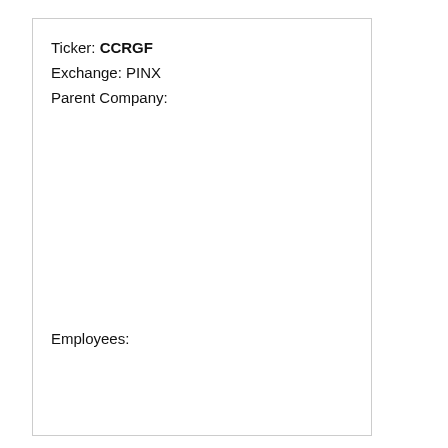Ticker: CCRGF
Exchange: PINX
Parent Company:
Employees: